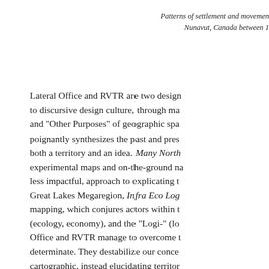Patterns of settlement and movement Nunavut, Canada between 19...
Lateral Office and RVTR are two design firms committed to discursive design culture, through mapping "Other Purposes" of geographic space that poignantly synthesizes the past and present of both a territory and an idea. Many North... experimental maps and on-the-ground na... less impactful, approach to explicating the Great Lakes Megaregion, Infra Eco Log... mapping, which conjures actors within t... (ecology, economy), and the "Logi-" (lo... Office and RVTR manage to overcome t... determinate. They destabilize our conce... cartographic, instead elucidating territor...